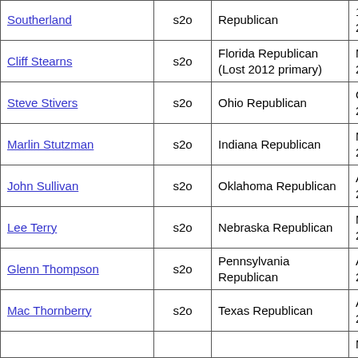| Name | Code | Party/State | Date |
| --- | --- | --- | --- |
| Southerland | s2o | Republican | 10, 2011 |
| Cliff Stearns | s2o | Florida Republican (Lost 2012 primary) | Mar 14, 2011 |
| Steve Stivers | s2o | Ohio Republican | Oct 14, 2011 |
| Marlin Stutzman | s2o | Indiana Republican | May 10, 2011 |
| John Sullivan | s2o | Oklahoma Republican | Apr 8, 2011 |
| Lee Terry | s2o | Nebraska Republican | Mar 31, 2011 |
| Glenn Thompson | s2o | Pennsylvania Republican | Apr 6, 2011 |
| Mac Thornberry | s2o | Texas Republican | Apr 5, 2011 |
| (partial) | s2o |  | Mar |